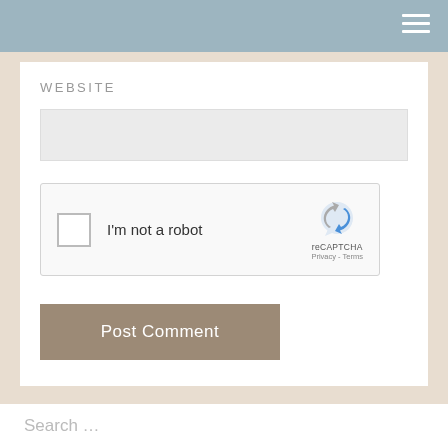WEBSITE
[Figure (screenshot): reCAPTCHA widget with checkbox labeled 'I'm not a robot' and reCAPTCHA logo with Privacy and Terms links]
Post Comment
Search …